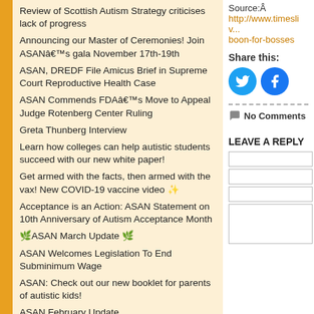Review of Scottish Autism Strategy criticises lack of progress
Announcing our Master of Ceremonies! Join ASANâ€™s gala November 17th-19th
ASAN, DREDF File Amicus Brief in Supreme Court Reproductive Health Case
ASAN Commends FDAâ€™s Move to Appeal Judge Rotenberg Center Ruling
Greta Thunberg Interview
Learn how colleges can help autistic students succeed with our new white paper!
Get armed with the facts, then armed with the vax! New COVID-19 vaccine video ✨
Acceptance is an Action: ASAN Statement on 10th Anniversary of Autism Acceptance Month
🌿 ASAN March Update 🌿
ASAN Welcomes Legislation To End Subminimum Wage
ASAN: Check out our new booklet for parents of autistic kids!
ASAN February Update
Canada: Life-changing Program Provides Job Skills To Autistic Adults
Institutions: The Old, The New & What Should We Do
Source:Â http://www.timesliv... boon-for-bosses
Share this:
No Comments
LEAVE A REPLY